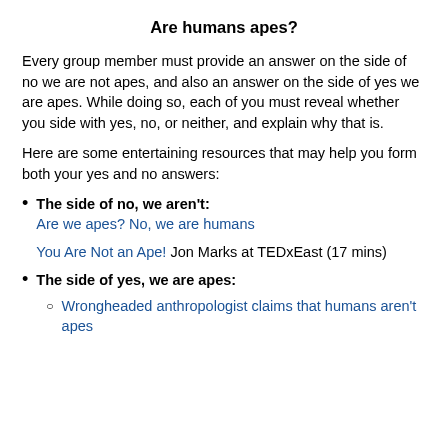Are humans apes?
Every group member must provide an answer on the side of no we are not apes, and also an answer on the side of yes we are apes. While doing so, each of you must reveal whether you side with yes, no, or neither, and explain why that is.
Here are some entertaining resources that may help you form both your yes and no answers:
The side of no, we aren't: Are we apes? No, we are humans

You Are Not an Ape! Jon Marks at TEDxEast (17 mins)
The side of yes, we are apes:
Wrongheaded anthropologist claims that humans aren't apes